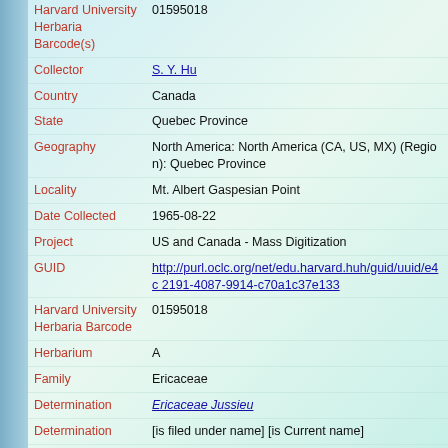| Field | Value |
| --- | --- |
| Harvard University Herbaria Barcode(s) | 01595018 |
| Collector | S. Y. Hu |
| Country | Canada |
| State | Quebec Province |
| Geography | North America: North America (CA, US, MX) (Region): Quebec Province |
| Locality | Mt. Albert Gaspesian Point |
| Date Collected | 1965-08-22 |
| Project | US and Canada - Mass Digitization |
| GUID | http://purl.oclc.org/net/edu.harvard.huh/guid/uuid/e4c...2191-4087-9914-c70a1c37e133 |
| Harvard University Herbaria Barcode | 01595018 |
| Herbarium | A |
| Family | Ericaceae |
| Determination | Ericaceae Jussieu |
| Determination | [is filed under name] [is Current name] |